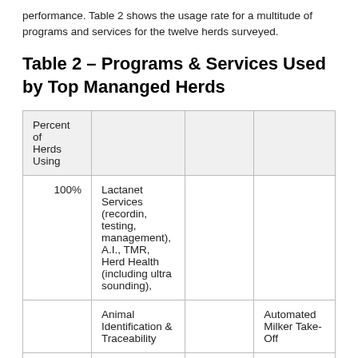performance. Table 2 shows the usage rate for a multitude of programs and services for the twelve herds surveyed.
Table 2 – Programs & Services Used by Top Mananged Herds
| Percent of Herds Using |  |  |  |
| --- | --- | --- | --- |
| 100% | Lactanet Services (recordin, testing, management),  A.I., TMR, Herd Health (including ultra sounding), |  |  |
|  | Animal Identification & Traceability |  | Automated Milker Take-Off |
|  |  |  |  |